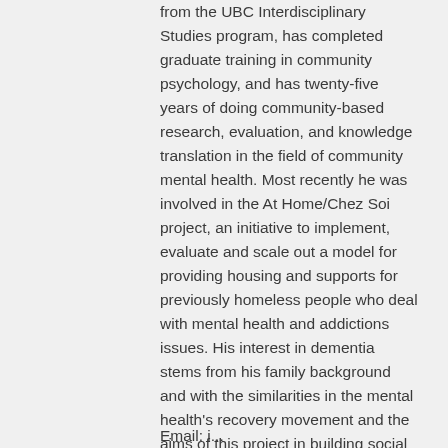from the UBC Interdisciplinary Studies program, has completed graduate training in community psychology, and has twenty-five years of doing community-based research, evaluation, and knowledge translation in the field of community mental health. Most recently he was involved in the At Home/Chez Soi project, an initiative to implement, evaluate and scale out a model for providing housing and supports for previously homeless people who deal with mental health and addictions issues. His interest in dementia stems from his family background and with the similarities in the mental health's recovery movement and the aims of this project in building social citizenship for people living with dementia.
Email: i...